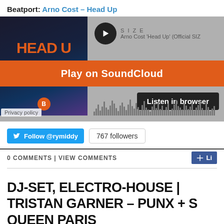Beatport: Arno Cost – Head Up
[Figure (screenshot): SoundCloud embedded player widget showing Arno Cost 'Head Up' (Official SIZE release) with orange 'Play on SoundCloud' bar and 'Listen in browser' button]
Privacy policy
Follow @rymiddy   767 followers
0 COMMENTS | VIEW COMMENTS
DJ-SET, ELECTRO-HOUSE | TRISTAN GARNER – PUNX + S... QUEEN PARIS